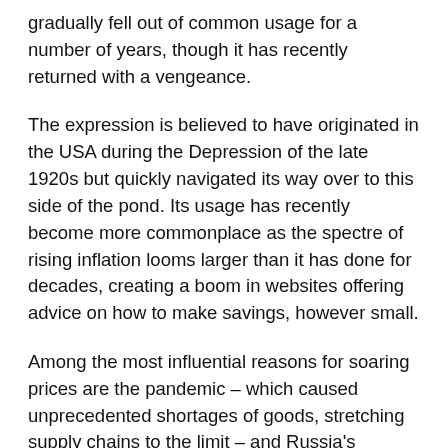gradually fell out of common usage for a number of years, though it has recently returned with a vengeance.
The expression is believed to have originated in the USA during the Depression of the late 1920s but quickly navigated its way over to this side of the pond. Its usage has recently become more commonplace as the spectre of rising inflation looms larger than it has done for decades, creating a boom in websites offering advice on how to make savings, however small.
Among the most influential reasons for soaring prices are the pandemic – which caused unprecedented shortages of goods, stretching supply chains to the limit – and Russia's invasion of Ukraine, which has exacerbated the problem.
Economists argue over whether inflation will quickly